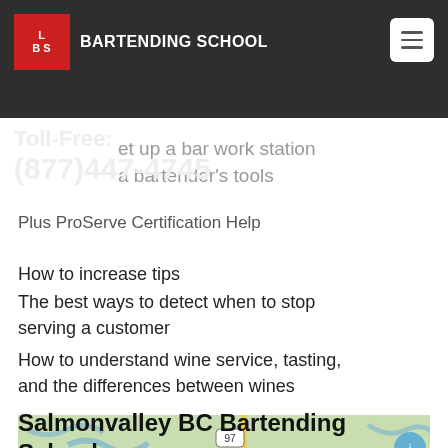LBS BARTENDING SCHOOL
Prepare multiple drinks quickly and easily
decorate tropical and specialty cocktails.
Toll-Free: (877)447-4745
set up a bar work station
a bartender's tools
Plus ProServe Certification Help
How to increase tips
The best ways to detect when to stop serving a customer
How to understand wine service, tasting, and the differences between wines
Salmonvalley BC Bartending School
[Figure (map): Map showing Salmonvalley BC area with highway 97 marked and a river/waterway, light green background terrain.]